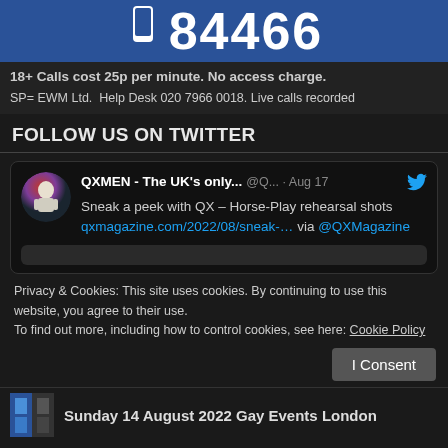[Figure (other): Blue banner with phone icon and number 84466]
18+ Calls cost 25p per minute. No access charge.
SP= EWM Ltd.  Help Desk 020 7966 0018. Live calls recorded
FOLLOW US ON TWITTER
[Figure (screenshot): Twitter/X card: QXMEN - The UK's only... @Q... · Aug 17 — Sneak a peek with QX – Horse-Play rehearsal shots qxmagazine.com/2022/08/sneak-... via @QXMagazine]
Privacy & Cookies: This site uses cookies. By continuing to use this website, you agree to their use.
To find out more, including how to control cookies, see here: Cookie Policy
I Consent
Sunday 14 August 2022 Gay Events London